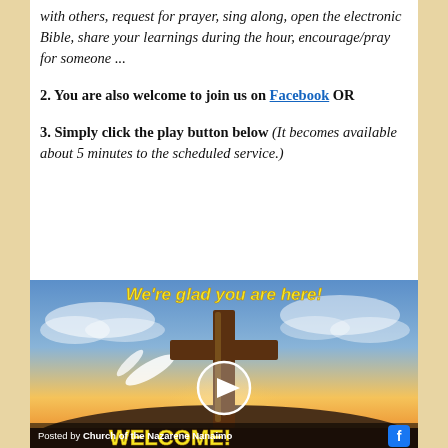with others, request for prayer, sing along, open the electronic Bible, share your learnings during the hour, encourage/pray for someone ...
2. You are also welcome to join us on Facebook OR
3. Simply click the play button below (It becomes available about 5 minutes to the scheduled service.)
[Figure (screenshot): Video thumbnail showing a wooden cross against a sunset sky with a dove, with the text 'We're glad you are here!' in yellow bold italic at the top, a play button circle in the center, and 'WELCOME!' text at the bottom. Footer reads 'Posted by Church of the Nazarene Nanaimo' with a Facebook icon.]